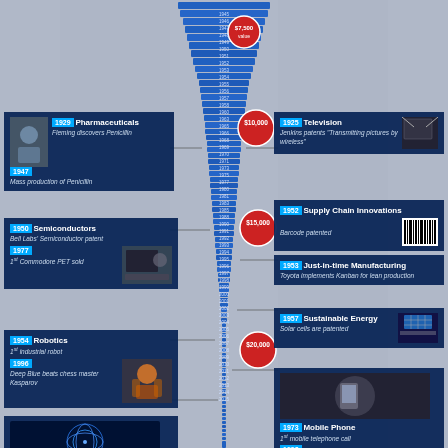[Figure (infographic): Technology innovation timeline infographic with a central blue tower/staircase graphic showing price milestones ($7,500, $10,000, $15,000, $20,000) and branching panels on left and right describing innovations: Pharmaceuticals (1929, 1947), Semiconductors (1950, 1977), Robotics (1954, 1996), Internet (1969, 1991), Television (1925), Supply Chain Innovations (1952), Just-in-time Manufacturing (1953), Sustainable Energy (1957), Mobile Phone (1973, 1992)]